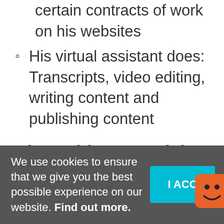certain contracts of work on his websites
His virtual assistant does: Transcripts, video editing, writing content and publishing content
Share this on social media in one click
Do you want to be a
We use cookies to ensure that we give you the best possible experience on our website. Find out more.
I ACCC